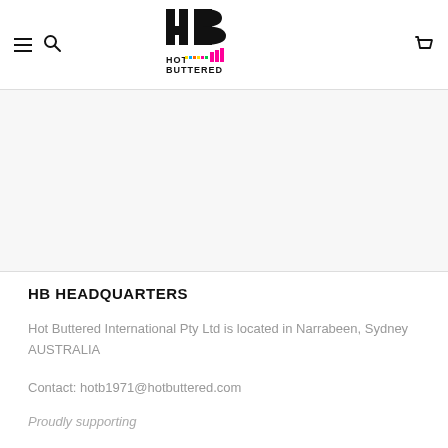Hot Buttered logo with navigation icons
HB HEADQUARTERS
Hot Buttered International Pty Ltd is located in Narrabeen, Sydney AUSTRALIA
Contact: hotb1971@hotbuttered.com
Proudly supporting